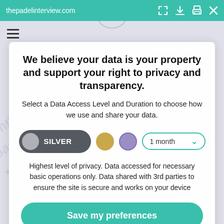thepadelinterview.com
We believe your data is your property and support your right to privacy and transparency.
Select a Data Access Level and Duration to choose how we use and share your data.
[Figure (infographic): Privacy level selector with SILVER toggle button selected (dark gray pill with gray circle), a gold circle option, a purple circle option, and a '1 month' dropdown with teal border and chevron.]
Highest level of privacy. Data accessed for necessary basic operations only. Data shared with 3rd parties to ensure the site is secure and works on your device
Save my preferences
Customize   Do Not Sell